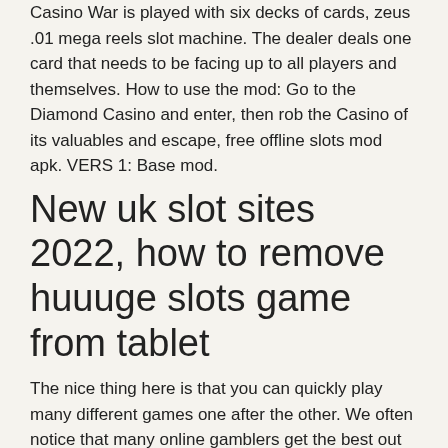Casino War is played with six decks of cards, zeus .01 mega reels slot machine. The dealer deals one card that needs to be facing up to all players and themselves. How to use the mod: Go to the Diamond Casino and enter, then rob the Casino of its valuables and escape, free offline slots mod apk. VERS 1: Base mod.
New uk slot sites 2022, how to remove huuuge slots game from tablet
The nice thing here is that you can quickly play many different games one after the other. We often notice that many online gamblers get the best out of themselves with a number of different games, free super slots casino games. What are the most famous casino games and what do you need to know before you start gambling? We explain them briefly so that you have a better idea of